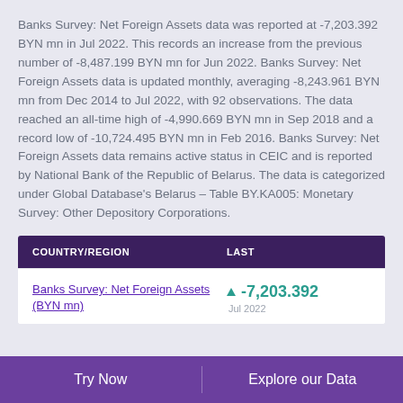Banks Survey: Net Foreign Assets data was reported at -7,203.392 BYN mn in Jul 2022. This records an increase from the previous number of -8,487.199 BYN mn for Jun 2022. Banks Survey: Net Foreign Assets data is updated monthly, averaging -8,243.961 BYN mn from Dec 2014 to Jul 2022, with 92 observations. The data reached an all-time high of -4,990.669 BYN mn in Sep 2018 and a record low of -10,724.495 BYN mn in Feb 2016. Banks Survey: Net Foreign Assets data remains active status in CEIC and is reported by National Bank of the Republic of Belarus. The data is categorized under Global Database's Belarus – Table BY.KA005: Monetary Survey: Other Depository Corporations.
| COUNTRY/REGION | LAST |
| --- | --- |
| Banks Survey: Net Foreign Assets (BYN mn) | ▲ -7,203.392
Jul 2022 |
Try Now    Explore our Data